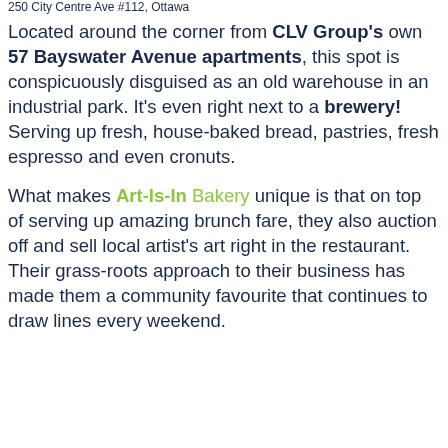250 City Centre Ave #112, Ottawa
Located around the corner from CLV Group's own 57 Bayswater Avenue apartments, this spot is conspicuously disguised as an old warehouse in an industrial park. It's even right next to a brewery! Serving up fresh, house-baked bread, pastries, fresh espresso and even cronuts.
What makes Art-Is-In Bakery unique is that on top of serving up amazing brunch fare, they also auction off and sell local artist's art right in the restaurant. Their grass-roots approach to their business has made them a community favourite that continues to draw lines every weekend.